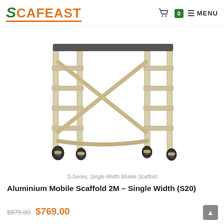SCAFEAST | 0 | MENU
[Figure (photo): Aluminium mobile scaffold frame (S-Series Single Width, 2M height) on casters, with cross-bracing and platform board, shown against white background.]
S-Series, Single Width Mobile Scaffold
Aluminium Mobile Scaffold 2M – Single Width (S20)
$975.00 $769.00